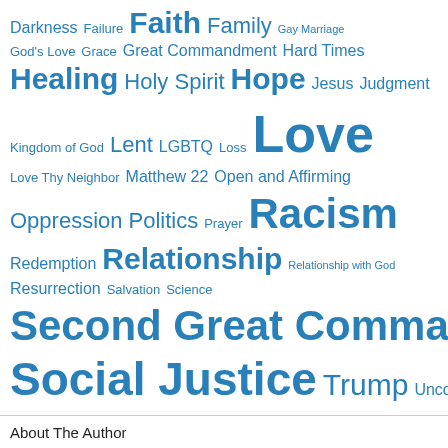[Figure (other): Word cloud of religious, social, and political topics in varying font sizes, all in blue. Terms include: Darkness, Failure, Faith, Family, Gay Marriage, God's Love, Grace, Great Commandment, Hard Times, Healing, Holy Spirit, Hope, Jesus, Judgment, Kingdom of God, Lent, LGBTQ, Loss, Love, Love Thy Neighbor, Matthew 22, Open and Affirming, Oppression, Politics, Prayer, Racism, Redemption, Relationship, Relationship with God, Resurrection, Salvation, Science, Second Great Commandment, Sin, Social Justice, Trump, Unconditional Love]
About The Author